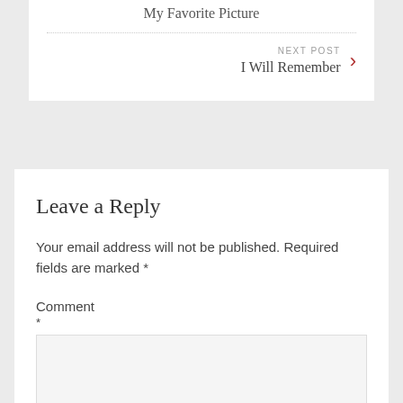My Favorite Picture
NEXT POST
I Will Remember
Leave a Reply
Your email address will not be published. Required fields are marked *
Comment
*